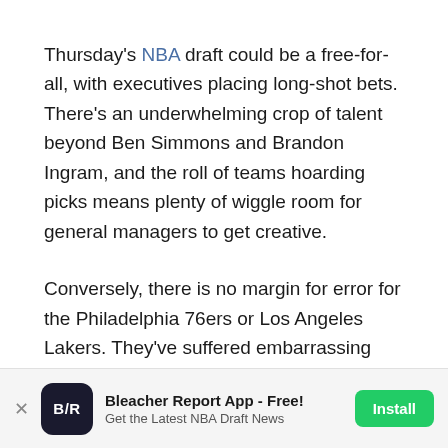Thursday's NBA draft could be a free-for-all, with executives placing long-shot bets. There's an underwhelming crop of talent beyond Ben Simmons and Brandon Ingram, and the roll of teams hoarding picks means plenty of wiggle room for general managers to get creative.
Conversely, there is no margin for error for the Philadelphia 76ers or Los Angeles Lakers. They've suffered embarrassing lows on the court over the past three seasons, with nothing yet in the way of a future superstar to show for the misery they've inflicted on their fans.
Bleacher Report App - Free! Get the Latest NBA Draft News [Install]